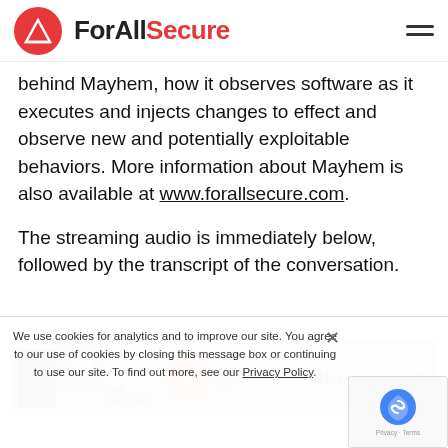ForAllSecure
behind Mayhem, how it observes software as it executes and injects changes to effect and observe new and potentially exploitable behaviors. More information about Mayhem is also available at www.forallsecure.com.
The streaming audio is immediately below, followed by the transcript of the conversation.
[Figure (screenshot): SoundCloud audio player widget showing a podcast episode with DevO... label and SOUNDCLOUD branding, with a play button and speaker avatar images.]
We use cookies for analytics and to improve our site. You agree to our use of cookies by closing this message box or continuing to use our site. To find out more, see our Privacy Policy.